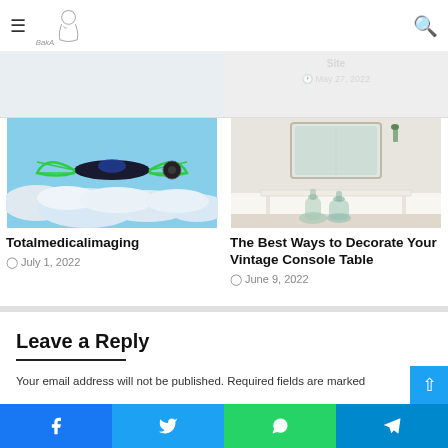Navigation bar with hamburger menu, logo, and search icon
[Figure (photo): Futuristic green aircraft/drone flying above clouds]
Totalmedicalimaging
July 1, 2022
[Figure (photo): White vintage console table with glass bottle vases and mirror]
The Best Ways to Decorate Your Vintage Console Table
June 9, 2022
Leave a Reply
Your email address will not be published. Required fields are marked
Social share bar: Facebook, Twitter, WhatsApp, Telegram